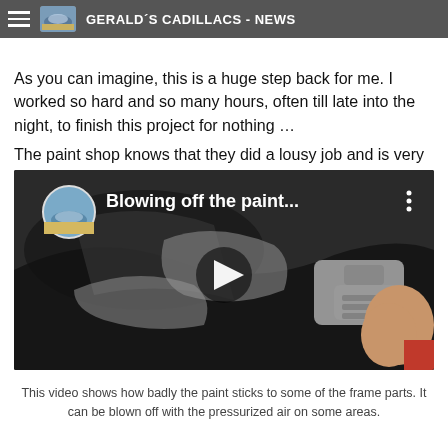GERALD´S CADILLACS - NEWS
hand.
As you can imagine, this is a huge step back for me. I worked so hard and so many hours, often till late into the night, to finish this project for nothing …
The paint shop knows that they did a lousy job and is very supportive to resolve this issue.
[Figure (screenshot): YouTube video thumbnail showing a hand holding a pressure air gun pointed at car frame parts. Video title overlay reads 'Blowing off the paint...' with a play button in the center.]
This video shows how badly the paint sticks to some of the frame parts. It can be blown off with the pressurized air on some areas.